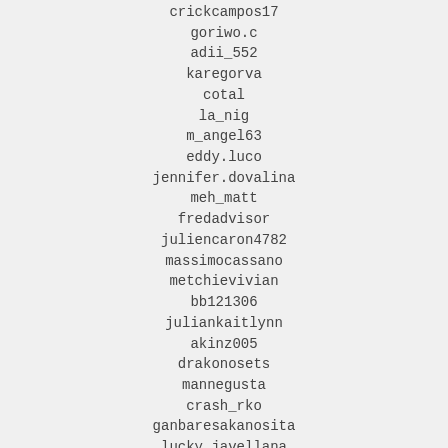crickcampos17
goriwo.c
adii_552
karegorva
cotal
la_nig
m_angel63
eddy.luco
jennifer.dovalina
meh_matt
fredadvisor
juliencaron4782
massimocassano
metchievivian
bb121306
juliankaitlynn
akinz005
drakonosets
mannegusta
crash_rko
ganbaresakanosita
lucky_javellana
fu5445
mesh.3180
freeartphotos